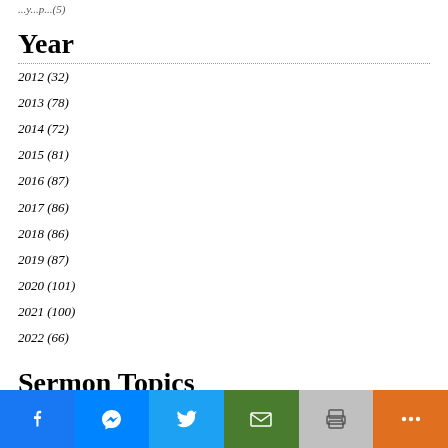...y...p...(5)
Year
2012 (32)
2013 (78)
2014 (72)
2015 (81)
2016 (87)
2017 (86)
2018 (86)
2019 (87)
2020 (101)
2021 (100)
2022 (66)
Sermon Topics
2nd Coming